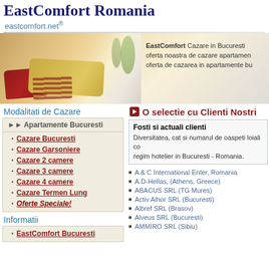EastComfort Romania
eastcomfort.net®
[Figure (photo): Banner with pillows on a bed and text about EastComfort cazare in Bucuresti]
Modalitati de Cazare
Apartamente Bucuresti
Cazare Bucuresti
Cazare Garsoniere
Cazare 2 camere
Cazare 3 camere
Cazare 4 camere
Cazare Termen Lung
Oferte Speciale!
Informatii
EastComfort Bucuresti
O selectie cu Clienti Nostri
Fosti si actuali clienti
Diversitatea, cat si numarul de oaspeti loiali co... regim hotelier in Bucuresti - Romania.
A & C International Enter, Romania
A.D-Hellas, (Athens, Greece)
ABACUS SRL (TG Mures)
Activ Alhor SRL (Bucuresti)
Albref SRL (Brasov)
Alveus SRL (Bucuresti)
AMMIRO SRL (Sibiu)